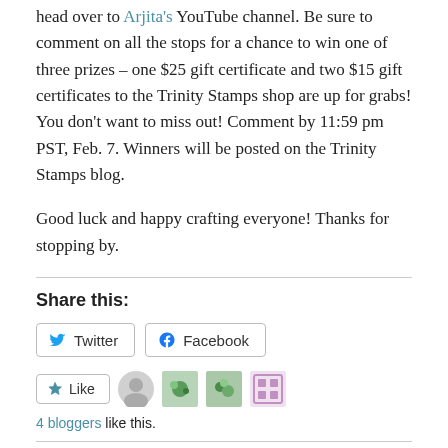head over to Arjita's YouTube channel. Be sure to comment on all the stops for a chance to win one of three prizes – one $25 gift certificate and two $15 gift certificates to the Trinity Stamps shop are up for grabs! You don't want to miss out! Comment by 11:59 pm PST, Feb. 7. Winners will be posted on the Trinity Stamps blog.
Good luck and happy crafting everyone! Thanks for stopping by.
Share this:
[Figure (screenshot): Twitter and Facebook share buttons]
[Figure (screenshot): Like button with 4 blogger avatars]
4 bloggers like this.